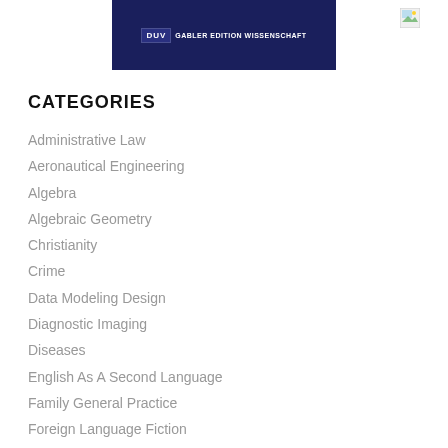[Figure (logo): Publisher banner with dark navy blue background showing 'DUV GABLER EDITION WISSENSCHAFT' text in white, with a small image icon to the right]
CATEGORIES
Administrative Law
Aeronautical Engineering
Algebra
Algebraic Geometry
Christianity
Crime
Data Modeling Design
Diagnostic Imaging
Diseases
English As A Second Language
Family General Practice
Foreign Language Fiction
French 1